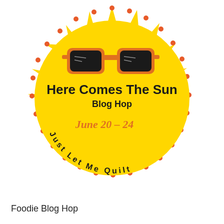[Figure (illustration): Sun character illustration with sunglasses, triangular ray points around a large yellow circle, red/orange dots around the perimeter. Text inside reads 'Here Comes The Sun Blog Hop', 'June 20 - 24', and curved text 'Just Let Me Quilt' around the bottom arc.]
Foodie Blog Hop